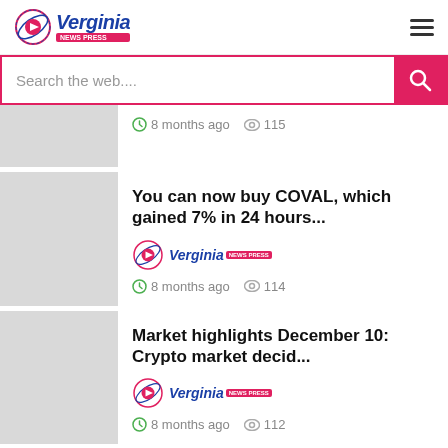Verginia news press
Search the web...
8 months ago  115
You can now buy COVAL, which gained 7% in 24 hours...
Verginia  8 months ago  114
Market highlights December 10: Crypto market decid...
Verginia  8 months ago  112